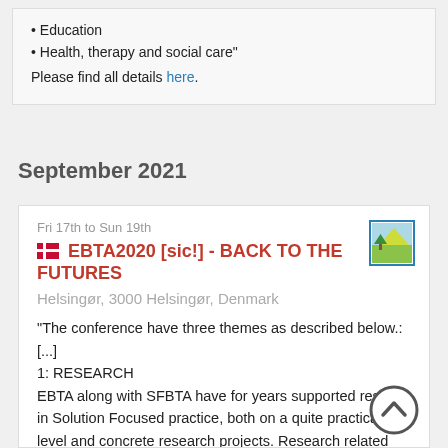Education
Health, therapy and social care"
Please find all details here.
September 2021
Fri 17th to Sun 19th
🇩🇰 EBTA2020 [sic!] - BACK TO THE FUTURES
Helsingør, 3000 Helsingør, Denmark
"The conference have three themes as described below.: [...]
1: RESEARCH
EBTA along with SFBTA have for years supported researc in Solution Focused practice, both on a quite practical level and concrete research projects. Research related
[Figure (illustration): Small square icon showing a landscape/nature scene with green and yellow tones, blue border]